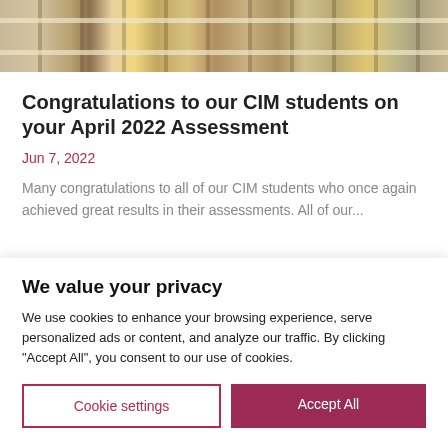[Figure (photo): Decorative photo strip showing a fence or railing with warm golden/brown tones]
Congratulations to our CIM students on your April 2022 Assessment
Jun 7, 2022
Many congratulations to all of our CIM students who once again achieved great results in their assessments. All of our...
We value your privacy
We use cookies to enhance your browsing experience, serve personalized ads or content, and analyze our traffic. By clicking "Accept All", you consent to our use of cookies.
Cookie settings
Accept All